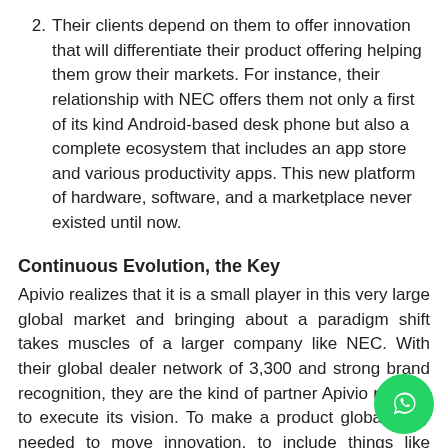2. Their clients depend on them to offer innovation that will differentiate their product offering helping them grow their markets. For instance, their relationship with NEC offers them not only a first of its kind Android-based desk phone but also a complete ecosystem that includes an app store and various productivity apps. This new platform of hardware, software, and a marketplace never existed until now.
Continuous Evolution, the Key
Apivio realizes that it is a small player in this very large global market and bringing about a paradigm shift takes muscles of a larger company like NEC. With their global dealer network of 3,300 and strong brand recognition, they are the kind of partner Apivio needed to execute its vision. To make a product global, they needed to move innovation, to include things like distribution, technical